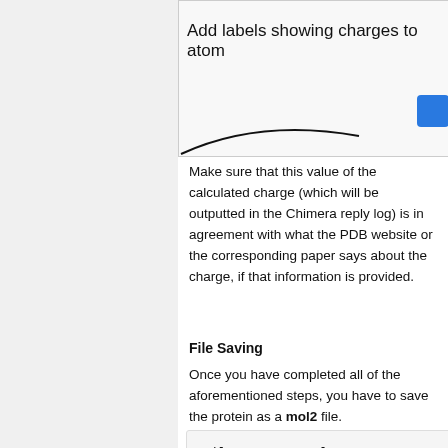[Figure (screenshot): Partial screenshot of a software UI dialog showing 'Add labels showing charges to atom' text and a blue button, with a curved line at the bottom.]
Make sure that this value of the calculated charge (which will be outputted in the Chimera reply log) is in agreement with what the PDB website or the corresponding paper says about the charge, if that information is provided.
File Saving
Once you have completed all of the aforementioned steps, you have to save the protein as a mol2 file.
File -> Save Mol2